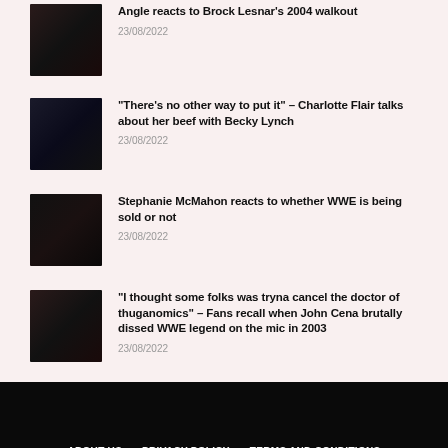Angle reacts to Brock Lesnar's 2004 walkout
23/08/2022
"There's no other way to put it" – Charlotte Flair talks about her beef with Becky Lynch
23/08/2022
Stephanie McMahon reacts to whether WWE is being sold or not
23/08/2022
"I thought some folks was tryna cancel the doctor of thuganomics" – Fans recall when John Cena brutally dissed WWE legend on the mic in 2003
23/08/2022
ABOUT US   PRIVACY POLICY   TERMS AND CONDITIONS   BASKETBALL   F1   NFL